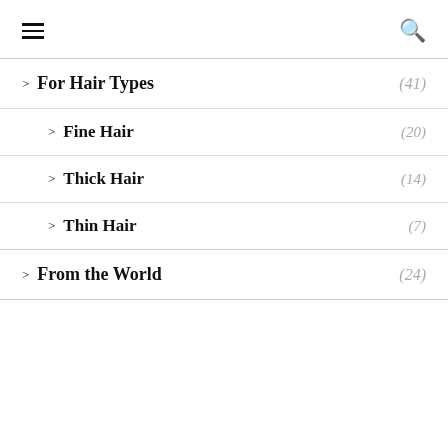≡  🔍
> For Hair Types (41)
> Fine Hair (20)
> Thick Hair (14)
> Thin Hair (7)
> From the World (24)